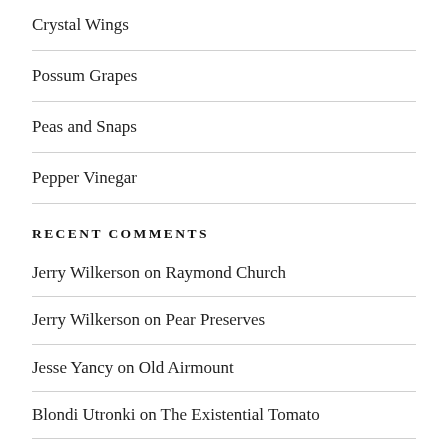Crystal Wings
Possum Grapes
Peas and Snaps
Pepper Vinegar
RECENT COMMENTS
Jerry Wilkerson on Raymond Church
Jerry Wilkerson on Pear Preserves
Jesse Yancy on Old Airmount
Blondi Utronki on The Existential Tomato
Jesse Yancy on The Grounds and the Fury